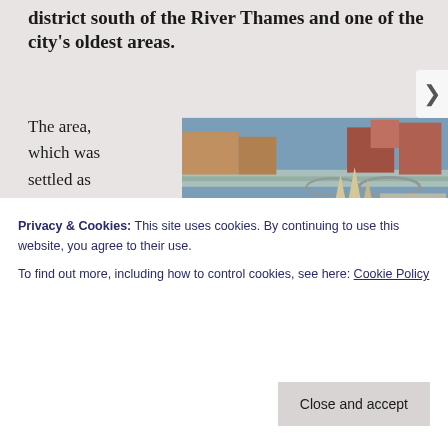district south of the River Thames and one of the city's oldest areas.
The area, which was settled as far back as Saxon times, takes its name from the Old
[Figure (photo): Aerial view of Southwark, London, showing a Gothic church (Southwark Cathedral), railway lines, the River Thames and bridges in the background, with dense urban buildings.]
Privacy & Cookies: This site uses cookies. By continuing to use this website, you agree to their use.
To find out more, including how to control cookies, see here: Cookie Policy
Close and accept